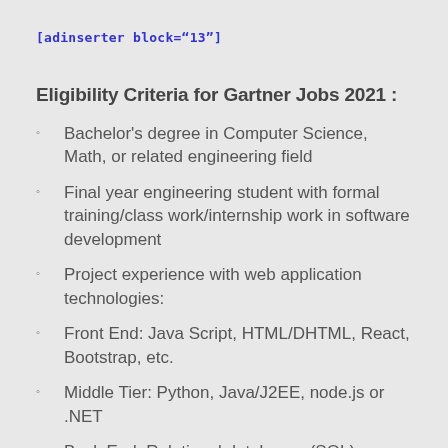[adinserter block="13"]
Eligibility Criteria for Gartner Jobs 2021 :
Bachelor's degree in Computer Science, Math, or related engineering field
Final year engineering student with formal training/class work/internship work in software development
Project experience with web application technologies:
Front End: Java Script, HTML/DHTML, React, Bootstrap, etc.
Middle Tier: Python, Java/J2EE, node.js or .NET
Back End: Relational databases (SQL)